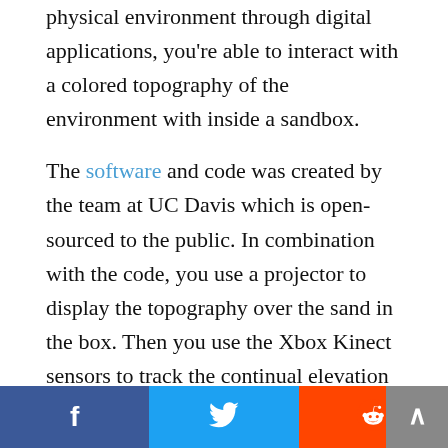physical environment through digital applications, you're able to interact with a colored topography of the environment with inside a sandbox.
The software and code was created by the team at UC Davis which is open-sourced to the public. In combination with the code, you use a projector to display the topography over the sand in the box. Then you use the Xbox Kinect sensors to track the continual elevation changes you make to the sand. The software runs in sync with the sandbox which allows you
Facebook share | Twitter share | Reddit share